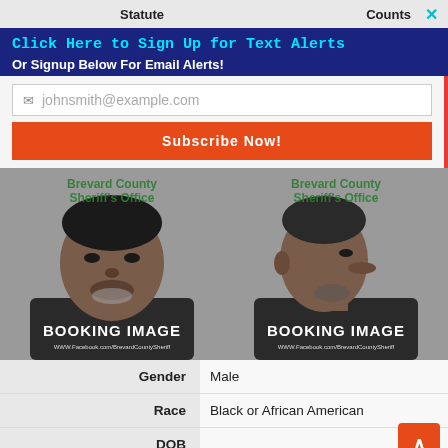Statute   Counts  ×
Click Here to Sign Up for Text Alerts
Or Signup Below For Email Alerts!
johnsmith@example.com
Subscribe Now!
[Figure (photo): Booking image front-facing mugshot - Brevard County Sheriff's Office]
[Figure (photo): Booking image side-profile mugshot - Brevard County Sheriff's Office]
| Field | Value |
| --- | --- |
| Gender | Male |
| Race | Black or African American |
| DOB |  |